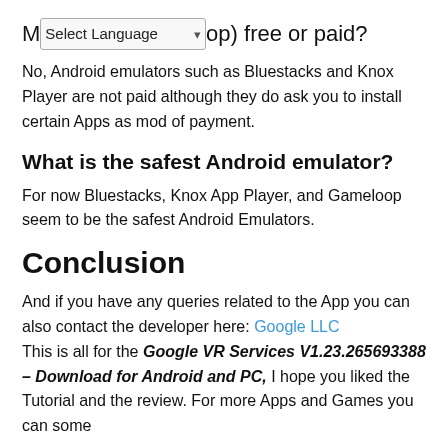M[Select Language]op) free or paid?
No, Android emulators such as Bluestacks and Knox Player are not paid although they do ask you to install certain Apps as mod of payment.
What is the safest Android emulator?
For now Bluestacks, Knox App Player, and Gameloop seem to be the safest Android Emulators.
Conclusion
And if you have any queries related to the App you can also contact the developer here: Google LLC
This is all for the Google VR Services V1.23.265693388 – Download for Android and PC, I hope you liked the Tutorial and the review. For more Apps and Games you can some